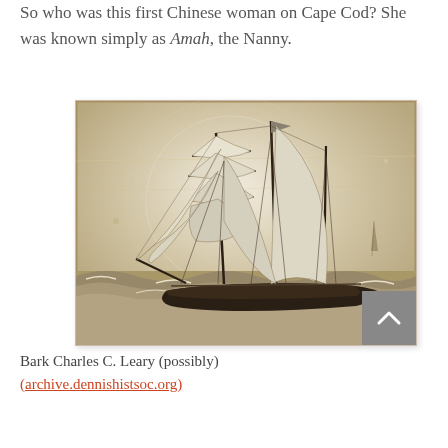So who was this first Chinese woman on Cape Cod? She was known simply as Amah, the Nanny.
[Figure (photo): Black and white historical photograph of a sailing ship (bark) with multiple masts and full sails on rough seas. The image is sepia-toned and aged.]
Bark Charles C. Leary (possibly) (archive.dennishistsoc.org)